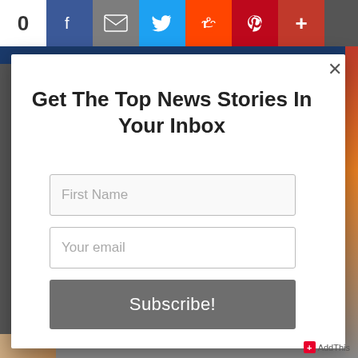[Figure (screenshot): Social share bar at top with count 0, Facebook, Email, Twitter, Reddit, Pinterest, and More buttons]
Get The Top News Stories In Your Inbox
[Figure (screenshot): First Name input field placeholder]
[Figure (screenshot): Your email input field placeholder]
[Figure (screenshot): Subscribe! button]
+ AddThis